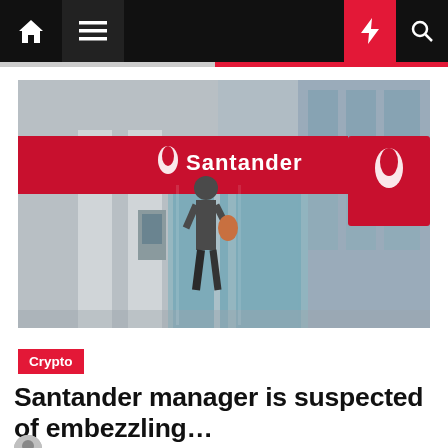Navigation bar with home, menu, dark mode, flash, and search icons
[Figure (photo): Exterior photo of a Santander bank branch. A red Santander sign with the flame logo is prominently displayed on the facade. A person is entering through the glass doors. The building features grey stone columns and glass panels.]
Crypto
Santander manager is suspected of embezzling...